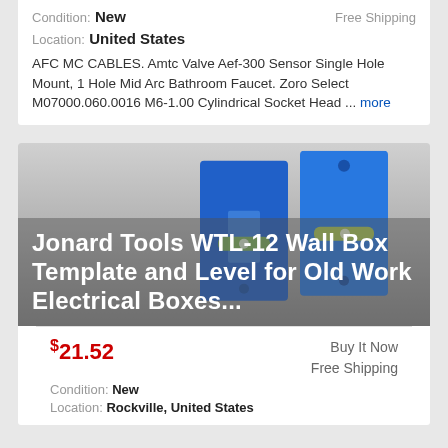Condition: New
Free Shipping
Location: United States
AFC MC CABLES. Amtc Valve Aef-300 Sensor Single Hole Mount, 1 Hole Mid Arc Bathroom Faucet. Zoro Select M07000.060.0016 M6-1.00 Cylindrical Socket Head ... more
[Figure (photo): Product photo of Jonard Tools WTL-12 Wall Box Template and Level for Old Work Electrical Boxes - two blue rectangular metal templates with a spirit level bubble visible, overlaid with product title text in white]
$21.52
Buy It Now
Free Shipping
Condition: New
Location: Rockville, United States